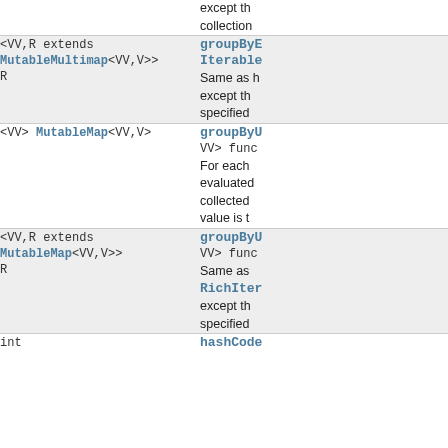| Type Parameters / Return | Method and Description |
| --- | --- |
| (continuation) | except th... collection... |
| <VV,R extends MutableMultimap<VV,V>> R | groupByE... Iterable...
Same as h... except th... specified ... |
| <VV> MutableMap<VV,V> | groupByU... VV> func...
For each ... evaluated... collected... value is t... |
| <VV,R extends MutableMap<VV,V>> R | groupByU... VV> func...
Same as ... RichIter... except th... specified ... |
| int | hashCode... |